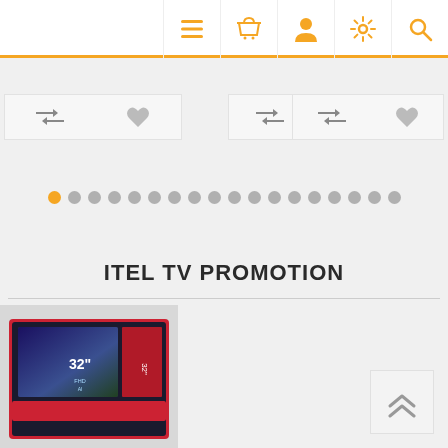[Figure (screenshot): Top navigation bar with orange bottom border containing menu, basket, user, settings, and search icons in orange]
[Figure (screenshot): Three product card bottom sections each showing compare (arrows) and wishlist (heart) icons in gray]
[Figure (screenshot): Pagination dots row: first dot orange (active), remaining 17 dots gray]
ITEL TV PROMOTION
[Figure (photo): Product image of an ITEL 32-inch TV box showing the TV display with a landscape scene]
[Figure (screenshot): Back to top button with double chevron up arrow icon]